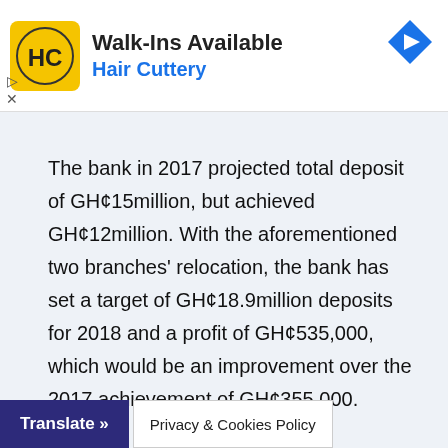[Figure (logo): Hair Cuttery advertisement banner with HC logo, 'Walk-Ins Available' headline, 'Hair Cuttery' subtext in blue, and a navigation arrow icon]
The bank in 2017 projected total deposit of GH¢15million, but achieved GH¢12million. With the aforementioned two branches' relocation, the bank has set a target of GH¢18.9million deposits for 2018 and a profit of GH¢535,000, which would be an improvement over the 2017 achievement of GH¢355,000.
Mr. Baffo-Emmim also said the bank will pursue improved customer service delivery and effective
Translate »
Privacy & Cookies Policy